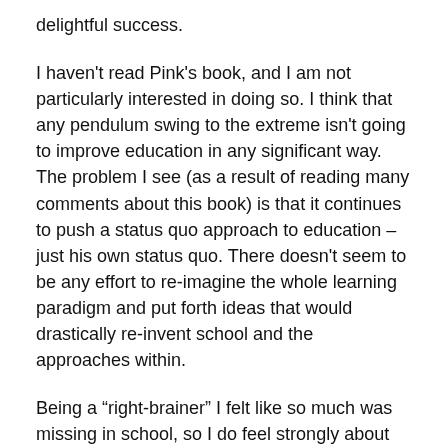delightful success.
I haven't read Pink's book, and I am not particularly interested in doing so. I think that any pendulum swing to the extreme isn't going to improve education in any significant way. The problem I see (as a result of reading many comments about this book) is that it continues to push a status quo approach to education – just his own status quo. There doesn't seem to be any effort to re-imagine the whole learning paradigm and put forth ideas that would drastically re-invent school and the approaches within.
Being a “right-brainer” I felt like so much was missing in school, so I do feel strongly about the fact that educational policy puts so little value in “the arts” and sees them as disposable.